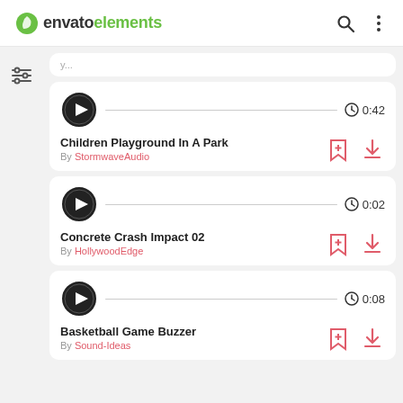envato elements
Children Playground In A Park — By StormwaveAudio — 0:42
Concrete Crash Impact 02 — By HollywoodEdge — 0:02
Basketball Game Buzzer — By Sound-Ideas — 0:08